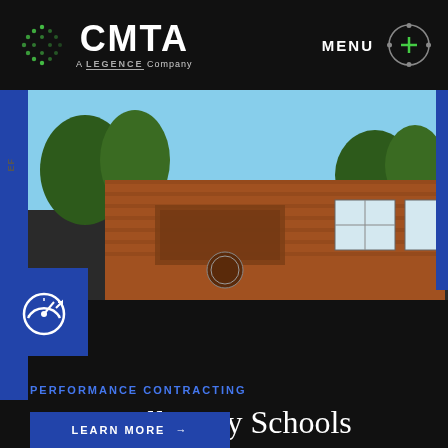CMTA — A Legence Company | MENU
[Figure (photo): Photograph of a brick school building (Greeneville Middle School) with landscaped grounds featuring ornamental shrubs and trees]
PERFORMANCE CONTRACTING
Greeneville City Schools
Tennessee School District Undertakes Significant Energy Upgrades
LEARN MORE →